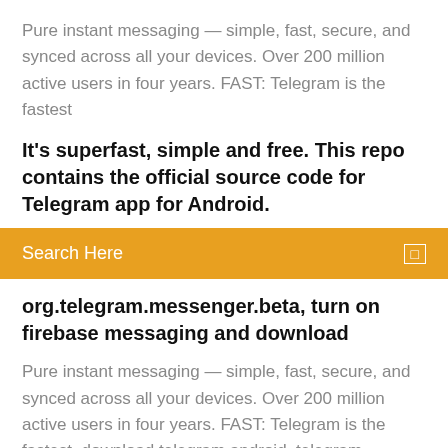Pure instant messaging — simple, fast, secure, and synced across all your devices. Over 200 million active users in four years. FAST: Telegram is the fastest
It's superfast, simple and free. This repo contains the official source code for Telegram app for Android.
[Figure (screenshot): Orange search bar with text 'Search Here' and a small icon on the right]
org.telegram.messenger.beta, turn on firebase messaging and download
Pure instant messaging — simple, fast, secure, and synced across all your devices. Over 200 million active users in four years. FAST: Telegram is the fastest  download telegram android, telegram android, telegram android download free. Download Telegram 5.13.1. Although WhatsApp is still the most-used messaging app on Android, more and more users are turning to License: Free. Telegram for Android (Google Play) · Telegram for Android (APK) · Telegram for Windows and Mac